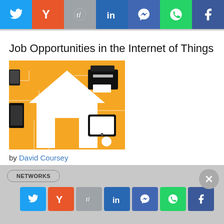[Figure (other): Social media share bar with Twitter, Yahoo, Reddit, LinkedIn, Messenger, WhatsApp, Facebook icons]
Job Opportunities in the Internet of Things
[Figure (illustration): Orange IoT smart home illustration showing a house icon with connected devices including a printer, tablet, and circuit board patterns]
by David Coursey
October 10, 2013
2 min read
CAREER PATHS
JOB NEWS
MOBILE
NETWORKS
[Figure (other): Bottom social media share bar with Twitter, Yahoo, Reddit, LinkedIn, Messenger, WhatsApp, Facebook icons]